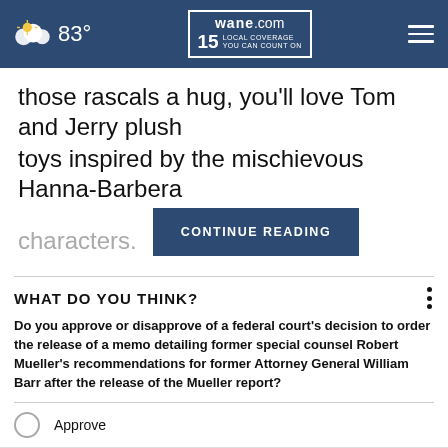wane.com 15 LOCAL COVERAGE YOU CAN COUNT ON | 83°
those rascals a hug, you'll love Tom and Jerry plush toys inspired by the mischievous Hanna-Barbera characters.
CONTINUE READING
WHAT DO YOU THINK?
Do you approve or disapprove of a federal court's decision to order the release of a memo detailing former special counsel Robert Mueller's recommendations for former Attorney General William Barr after the release of the Mueller report?
Approve
Disapprove
I'm not sure